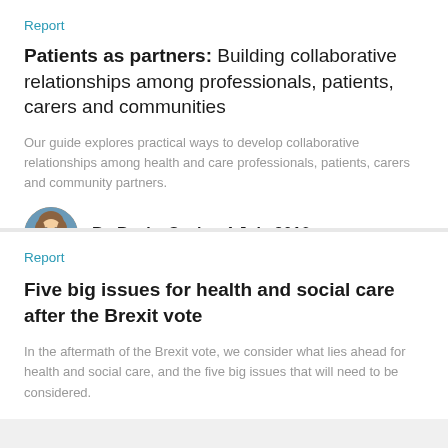Report
Patients as partners: Building collaborative relationships among professionals, patients, carers and communities
Our guide explores practical ways to develop collaborative relationships among health and care professionals, patients, carers and community partners.
By Becky Seale - 4 July 2016
Report
Five big issues for health and social care after the Brexit vote
In the aftermath of the Brexit vote, we consider what lies ahead for health and social care, and the five big issues that will need to be considered.